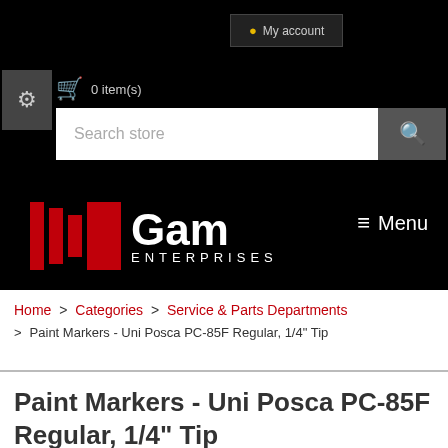My account
0 item(s)
Search store
[Figure (logo): Gam Enterprises logo with red vertical bars and white text]
≡ Menu
Home > Categories > Service & Parts Departments > Paint Markers - Uni Posca PC-85F Regular, 1/4" Tip
Paint Markers - Uni Posca PC-85F Regular, 1/4" Tip